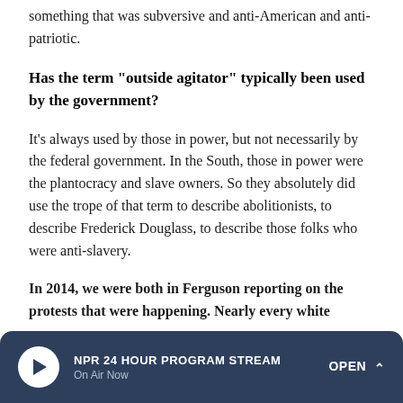something that was subversive and anti-American and anti-patriotic.
Has the term "outside agitator" typically been used by the government?
It's always used by those in power, but not necessarily by the federal government. In the South, those in power were the plantocracy and slave owners. So they absolutely did use the trope of that term to describe abolitionists, to describe Frederick Douglass, to describe those folks who were anti-slavery.
In 2014, we were both in Ferguson reporting on the protests that were happening. Nearly every white person
NPR 24 HOUR PROGRAM STREAM
On Air Now
OPEN